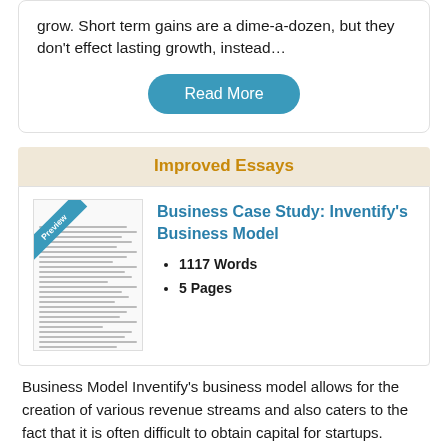grow. Short term gains are a dime-a-dozen, but they don’t effect lasting growth, instead…
Read More
Improved Essays
[Figure (illustration): Thumbnail preview of an essay document with a blue diagonal 'Preview' ribbon in the top-left corner]
Business Case Study: Inventify’s Business Model
1117 Words
5 Pages
Business Model Inventify’s business model allows for the creation of various revenue streams and also caters to the fact that it is often difficult to obtain capital for startups. Inventify is modelled not only to work for each, but depending on the project length